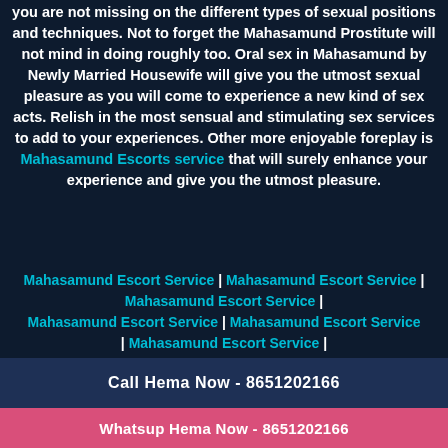you are not missing on the different types of sexual positions and techniques. Not to forget the Mahasamund Prostitute will not mind in doing roughly too. Oral sex in Mahasamund by Newly Married Housewife will give you the utmost sexual pleasure as you will come to experience a new kind of sex acts. Relish in the most sensual and stimulating sex services to add to your experiences. Other more enjoyable foreplay is Mahasamund Escorts service that will surely enhance your experience and give you the utmost pleasure.
Mahasamund Escort Service | Mahasamund Escort Service | Mahasamund Escort Service | Mahasamund Escort Service | Mahasamund Escort Service | Mahasamund Escort Service | Mahasamund Escort Service | Mahasamund Escort Service | Mahasamund Escort Service |
Call Hema Now - 8651202166
Whatsup Hema Now - 8651202166